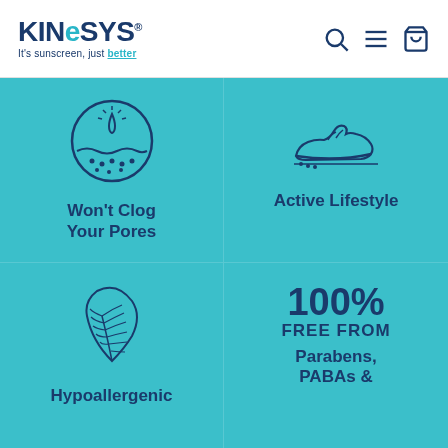[Figure (logo): KineSys logo with tagline 'It's sunscreen, just better']
[Figure (infographic): Four-panel teal infographic showing: Won't Clog Your Pores (skin/drop icon), Active Lifestyle (sneaker icon), Hypoallergenic (feather icon), 100% FREE FROM Parabens, PABAs & [more]]
Won't Clog Your Pores
Active Lifestyle
Hypoallergenic
100% FREE FROM Parabens, PABAs &